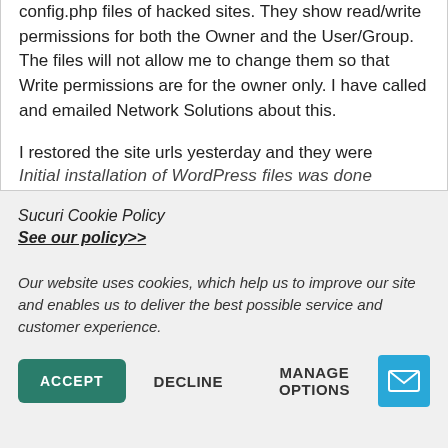config.php files of hacked sites. They show read/write permissions for both the Owner and the User/Group. The files will not allow me to change them so that Write permissions are for the owner only. I have called and emailed Network Solutions about this.

I restored the site urls yesterday and they were hacked again today. Until I am able to change the file permissions, I guess it will happen everyday.

Initial installation of WordPress files was done
Sucuri Cookie Policy
See our policy>>
Our website uses cookies, which help us to improve our site and enables us to deliver the best possible service and customer experience.